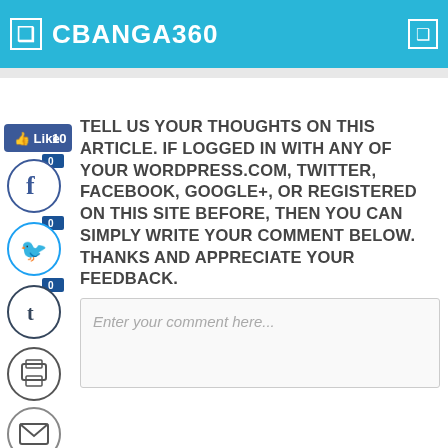CBANGA360
[Figure (screenshot): Social sharing sidebar with Facebook (0 shares), Twitter (0 shares), Tumblr (0 shares), Print, Email buttons, 0 Shares count, and a Facebook Like button showing 10 likes]
TELL US YOUR THOUGHTS ON THIS ARTICLE. IF LOGGED IN WITH ANY OF YOUR WORDPRESS.COM, TWITTER, FACEBOOK, GOOGLE+, OR REGISTERED ON THIS SITE BEFORE, THEN YOU CAN SIMPLY WRITE YOUR COMMENT BELOW. THANKS AND APPRECIATE YOUR FEEDBACK.
Enter your comment here...